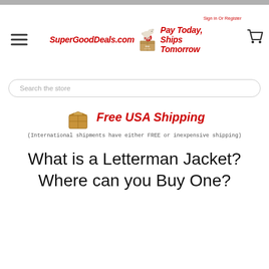[Figure (logo): SuperGoodDeals.com website header with hamburger menu, logo featuring a goat on boxes with #1 badge, tagline 'Pay Today, Ships Tomorrow', sign in link, and shopping cart icon]
Search the store
[Figure (infographic): Cardboard box icon with 'Free USA Shipping' in red bold italic text]
(International shipments have either FREE or inexpensive shipping)
What is a Letterman Jacket? Where can you Buy One?